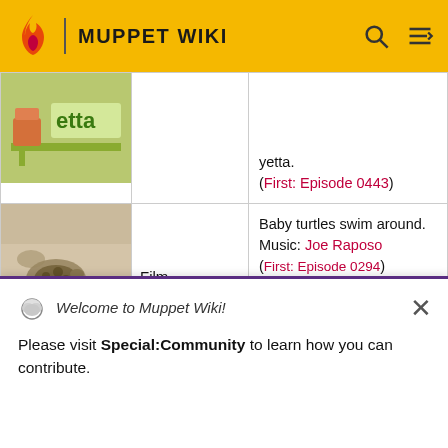MUPPET WIKI
| Image | Type | Description |
| --- | --- | --- |
| [image: yetta sign] |  | yetta.
(First: Episode 0443) |
| [image: baby turtles] | Film | Baby turtles swim around.
Music: Joe Raposo
(First: Episode 0294) |
| [image: cartoon dog yowl] | Cartoon | A boy can yell and yodel, and his dog can yelp and yowl. They can both yawn. |
Welcome to Muppet Wiki!
Please visit Special:Community to learn how you can contribute.